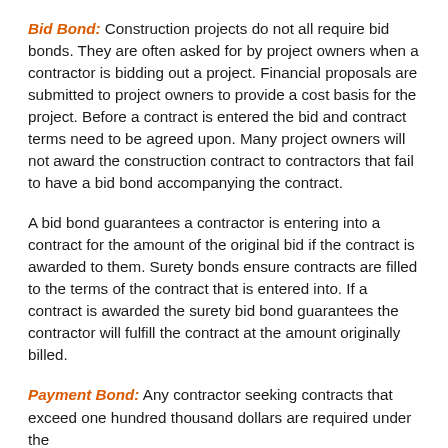Bid Bond: Construction projects do not all require bid bonds. They are often asked for by project owners when a contractor is bidding out a project. Financial proposals are submitted to project owners to provide a cost basis for the project. Before a contract is entered the bid and contract terms need to be agreed upon. Many project owners will not award the construction contract to contractors that fail to have a bid bond accompanying the contract.
A bid bond guarantees a contractor is entering into a contract for the amount of the original bid if the contract is awarded to them. Surety bonds ensure contracts are filled to the terms of the contract that is entered into. If a contract is awarded the surety bid bond guarantees the contractor will fulfill the contract at the amount originally billed.
Payment Bond: Any contractor seeking contracts that exceed one hundred thousand dollars are required under the